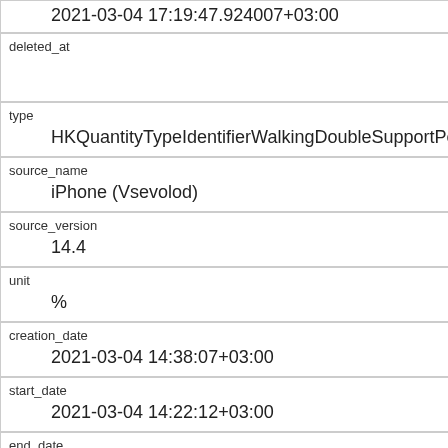|  | 2021-03-04 17:19:47.924007+03:00 |
| deleted_at |  |
| type | HKQuantityTypeIdentifierWalkingDoubleSupportPerc |
| source_name | iPhone (Vsevolod) |
| source_version | 14.4 |
| unit | % |
| creation_date | 2021-03-04 14:38:07+03:00 |
| start_date | 2021-03-04 14:22:12+03:00 |
| end_date | 2021-03-04 14:25:10+03:00 |
| value | 0.26 |
| device_id | iPhone 26 |